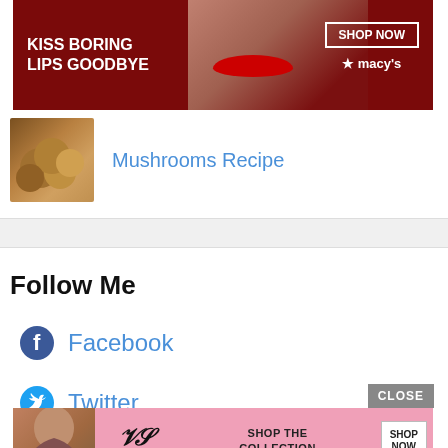[Figure (photo): Macy's advertisement banner: dark red background with woman's face and red lips, text 'KISS BORING LIPS GOODBYE', 'SHOP NOW' button, Macy's star logo]
Mushrooms Recipe
Follow Me
Facebook
Twitter
[Figure (photo): Victoria's Secret advertisement banner: pink background with woman's photo, Victoria's Secret logo, 'SHOP THE COLLECTION' text, 'SHOP NOW' button, and 'CLOSE' button]